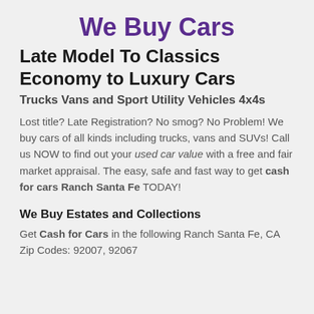We Buy Cars
Late Model To Classics Economy to Luxury Cars
Trucks Vans and Sport Utility Vehicles 4x4s
Lost title? Late Registration? No smog? No Problem! We buy cars of all kinds including trucks, vans and SUVs! Call us NOW to find out your used car value with a free and fair market appraisal. The easy, safe and fast way to get cash for cars Ranch Santa Fe TODAY!
We Buy Estates and Collections
Get Cash for Cars in the following Ranch Santa Fe, CA Zip Codes: 92007, 92067